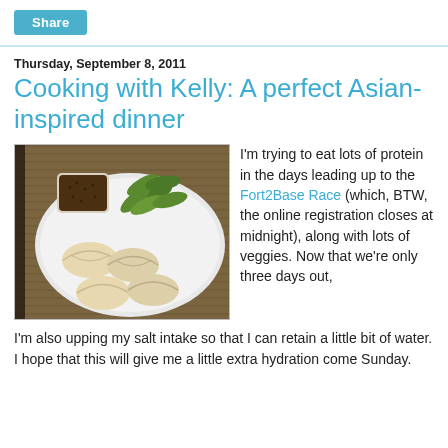Share
Thursday, September 8, 2011
Cooking with Kelly: A perfect Asian-inspired dinner
[Figure (photo): A white plate with dumplings/wontons, edamame pods, and a small square bowl of dark dipping sauce, placed on a bamboo mat]
I'm trying to eat lots of protein in the days leading up to the Fort2Base Race (which, BTW, the online registration closes at midnight), along with lots of veggies. Now that we're only three days out, I'm also upping my salt intake so that I can retain a little bit of water. I hope that this will give me a little extra hydration come Sunday.